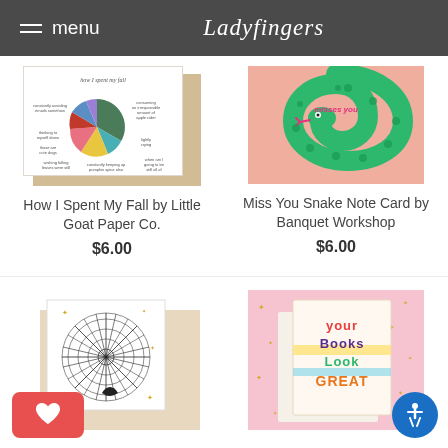menu | Ladyfingers
[Figure (photo): Greeting card 'How I Spent My Fall' with a colorful pie chart, displayed in front of a kraft envelope]
[Figure (photo): Pink greeting card featuring a green spotted snake with text 'misses you']
How I Spent My Fall by Little Goat Paper Co.
Miss You Snake Note Card by Banquet Workshop
$6.00
$6.00
[Figure (photo): Greeting card with a black circular geometric sunburst pattern on white background with gold star confetti]
[Figure (photo): Pink greeting card with colorful block letters reading 'your books look great' with gold star confetti]